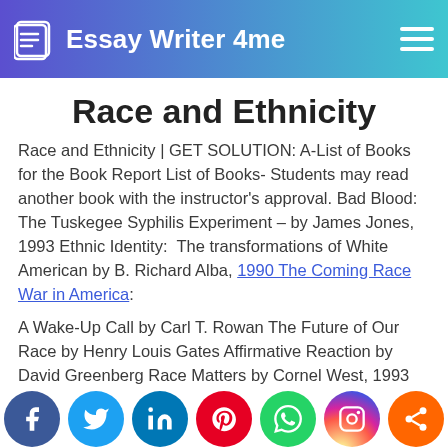Essay Writer 4me
Race and Ethnicity
Race and Ethnicity | GET SOLUTION: A-List of Books for the Book Report List of Books- Students may read another book with the instructor's approval. Bad Blood: The Tuskegee Syphilis Experiment – by James Jones, 1993 Ethnic Identity:  The transformations of White American by B. Richard Alba, 1990 The Coming Race War in America:
A Wake-Up Call by Carl T. Rowan The Future of Our Race by Henry Louis Gates Affirmative Reaction by David Greenberg Race Matters by Cornel West, 1993 Two Nations by Andrew